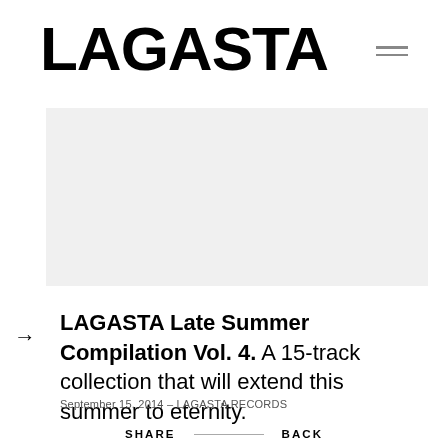LAGASTA
[Figure (photo): Light gray placeholder image block]
→ LAGASTA Late Summer Compilation Vol. 4. A 15-track collection that will extend this summer to eternity.
September 15, 2014 – LAGASTA RECORDS
SHARE   BACK